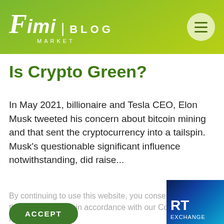Fimi Market | BLOG
Is Crypto Green?
In May 2021, billionaire and Tesla CEO, Elon Musk tweeted his concern about bitcoin mining and that sent the cryptocurrency into a tailspin. Musk's questionable significant influence notwithstanding, did raise...
By continuing to use this website, you consent to the use of cookies in accordance with our Cookie Policy.
ACCEPT
[Figure (screenshot): Partial image showing 'RT' and 'EXCHANGE' text on a dark blue technology background]